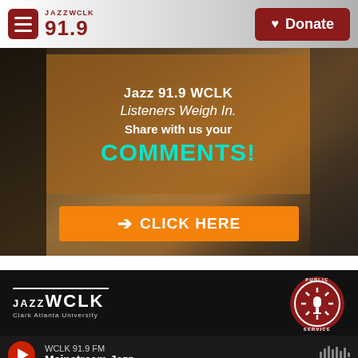Jazz WCLK 91.9 — Donate
[Figure (screenshot): Jazz 91.9 WCLK Listeners Weigh In promotional banner with brown overlay. Text reads: Jazz 91.9 WCLK / Listeners Weigh In. / Share with us your / COMMENTS! with orange CLICK HERE button.]
[Figure (screenshot): Jazz WCLK black banner with white logo and Public Service badge circular logo on the right.]
WCLK 91.9 FM
Mainstream Jazz